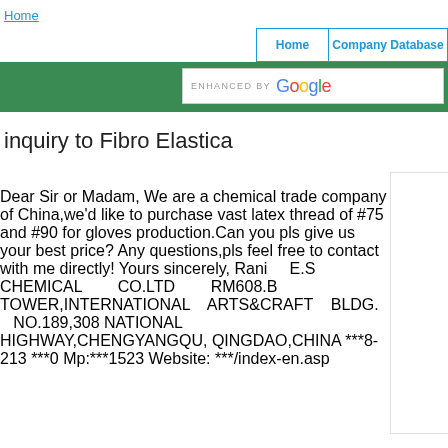Home | Home | Company Database
inquiry to Fibro Elastica
Dear Sir or Madam, We are a chemical trade company of China,we'd like to purchase vast latex thread of #75 and #90 for gloves production.Can you pls give us your best price? Any questions,pls feel free to contact with me directly! Yours sincerely, Rani E.S CHEMICAL CO.LTD RM608.B TOWER,INTERNATIONAL ARTS&CRAFT BLDG. NO.189,308 NATIONAL HIGHWAY,CHENGYANGQU, QINGDAO,CHINA ***8-213 ***0 Mp:***1523 Website: ***/index-en.asp